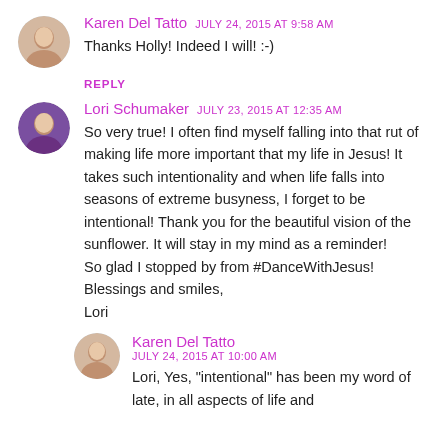Karen Del Tatto  July 24, 2015 at 9:58 AM
Thanks Holly! Indeed I will! :-)
REPLY
Lori Schumaker  July 23, 2015 at 12:35 AM
So very true! I often find myself falling into that rut of making life more important that my life in Jesus! It takes such intentionality and when life falls into seasons of extreme busyness, I forget to be intentional! Thank you for the beautiful vision of the sunflower. It will stay in my mind as a reminder!
So glad I stopped by from #DanceWithJesus!
Blessings and smiles,
Lori
Karen Del Tatto  July 24, 2015 at 10:00 AM
Lori, Yes, "intentional" has been my word of late, in all aspects of life and